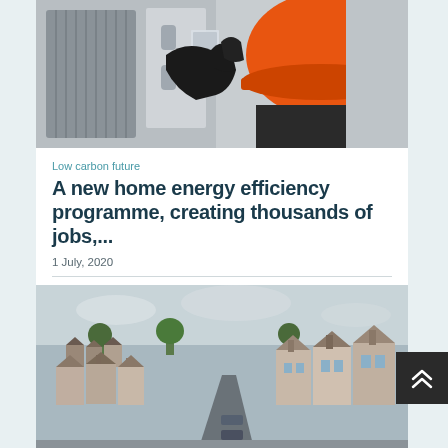[Figure (photo): A worker wearing black gloves and an orange hard hat installing or servicing an HVAC/heat pump unit on the exterior of a building]
Low carbon future
A new home energy efficiency programme, creating thousands of jobs,...
1 July, 2020
[Figure (photo): Aerial view of a residential street in the UK showing rows of Victorian terraced houses with varied rooftops, cars parked along the road, and trees in the background]